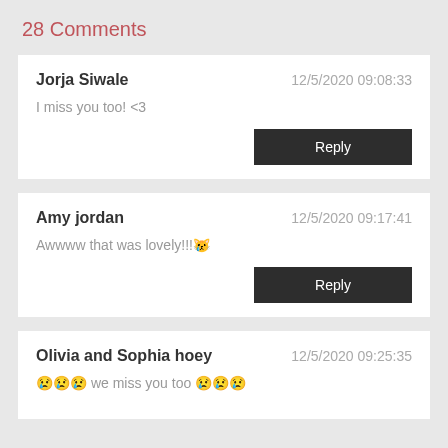28 Comments
Jorja Siwale | 12/5/2020 09:08:33
I miss you too! <3
Amy jordan | 12/5/2020 09:17:41
Awwww that was lovely!!!🐱
Olivia and Sophia hoey | 12/5/2020 09:25:35
😢😢😢 we miss you too 😢😢😢